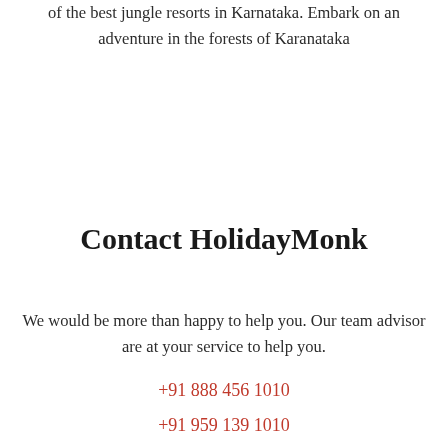of the best jungle resorts in Karnataka. Embark on an adventure in the forests of Karanataka
Contact HolidayMonk
We would be more than happy to help you. Our team advisor are at your service to help you.
+91 888 456 1010
+91 959 139 1010